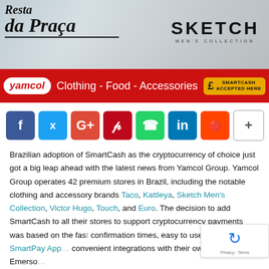[Figure (photo): Store banner showing 'Resta da Praça' script logo on the left and 'SKETCH MEN'S COLLECTION' text on the right, with a blurred retail store background.]
[Figure (infographic): Red banner advertisement for Yamcol Group featuring the Yamcol logo badge, 'Clothing - Food - Accessories' text, and a SmartCash Accepted Here badge on the right.]
[Figure (infographic): Row of social media sharing buttons: Facebook (blue f), Twitter (blue bird), Google+ (red G+), Pinterest (red P), WhatsApp (green phone), LinkedIn (blue in), Reddit (orange), and a plus/more button.]
Brazilian adoption of SmartCash as the cryptocurrency of choice just got a big leap ahead with the latest news from Yamcol Group. Yamcol Group operates 42 premium stores in Brazil, including the notable clothing and accessory brands Taco, Kattleya, Sketch Men's Collection, Victor Hugo, Touch, and Euro. The decision to add SmartCash to all their stores to support cryptocurrency payments was based on the fast confirmation times, easy to use Android SmartPay App convenient integrations with their own systems. Emerso...